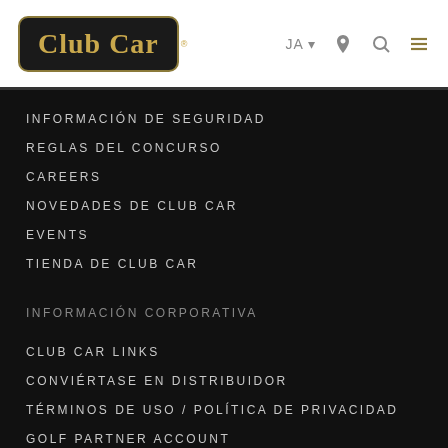Club Car
INFORMACIÓN DE SEGURIDAD
REGLAS DEL CONCURSO
CAREERS
NOVEDADES DE CLUB CAR
EVENTS
TIENDA DE CLUB CAR
INFORMACIÓN CORPORATIVA
CLUB CAR LINKS
CONVIÉRTASE EN DISTRIBUIDOR
TÉRMINOS DE USO / POLÍTICA DE PRIVACIDAD
GOLF PARTNER ACCOUNT